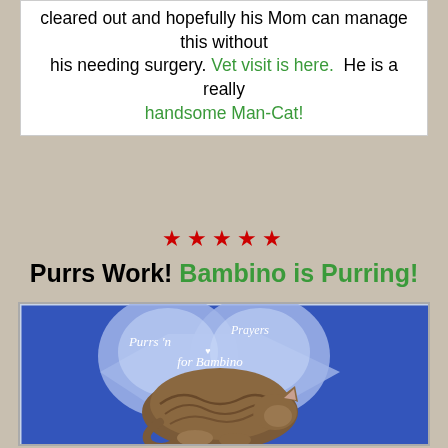cleared out and hopefully his Mom can manage this without his needing surgery. Vet visit is here. He is a really handsome Man-Cat!
★★★★★
Purrs Work! Bambino is Purring!
[Figure (illustration): Image of a tabby cat curled up sleeping on a blue background with two large light-blue heart shapes behind it. White cursive text on the hearts reads 'Purrs n Prayers for Bambino'. The image has a decorative border.]